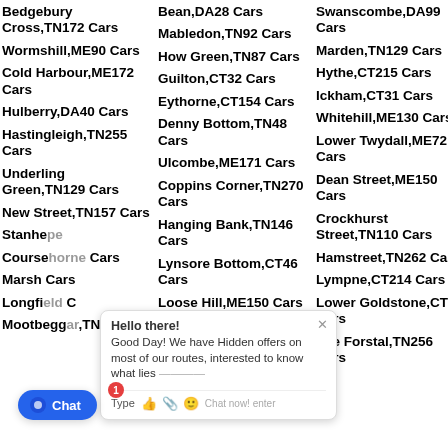Bedgebury Cross,TN172 Cars
Wormshill,ME90 Cars
Cold Harbour,ME172 Cars
Hulberry,DA40 Cars
Hastingleigh,TN255 Cars
Underling Green,TN129 Cars
New Street,TN157 Cars
Stanhope [partially obscured]
Coursehorne [partially obscured] Cars
Marsh [partially obscured] Cars
Longfield [partially obscured] Cars
Mootbeggар,TN129
Bean,DA28 Cars
Mabledon,TN92 Cars
How Green,TN87 Cars
Guilton,CT32 Cars
Eythorne,CT154 Cars
Denny Bottom,TN48 Cars
Ulcombe,ME171 Cars
Coppins Corner,TN270 Cars
Hanging Bank,TN146 Cars
Lynsore Bottom,CT46 Cars
Loose Hill,ME150 Cars
Middle Deal,CT149
Swanscombe,DA99 Cars
Marden,TN129 Cars
Hythe,CT215 Cars
Ickham,CT31 Cars
Whitehill,ME130 Cars
Lower Twydall,ME72 Cars
Dean Street,ME150 Cars
Crockhurst Street,TN110 Cars
Hamstreet,TN262 Cars
Lympne,CT214 Cars
Lower Goldstone,CT32 Cars
The Forstal,TN256 Cars